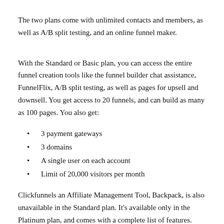The two plans come with unlimited contacts and members, as well as A/B split testing, and an online funnel maker.
With the Standard or Basic plan, you can access the entire funnel creation tools like the funnel builder chat assistance, FunnelFlix, A/B split testing, as well as pages for upsell and downsell. You get access to 20 funnels, and can build as many as 100 pages. You also get:
3 payment gateways
3 domains
A single user on each account
Limit of 20,000 visitors per month
Clickfunnels an Affiliate Management Tool, Backpack, is also unavailable in the Standard plan. It's available only in the Platinum plan, and comes with a complete list of features.